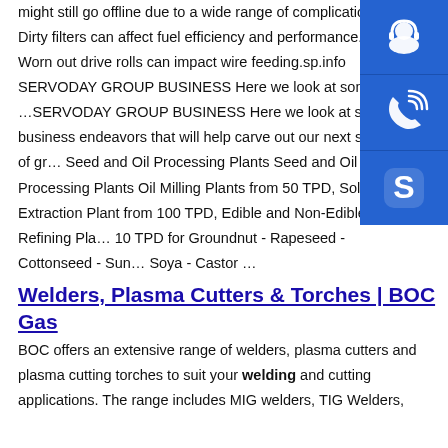might still go offline due to a wide range of complications. Dirty filters can affect fuel efficiency and performance. Worn out drive rolls can impact wire feeding.sp.info SERVODAY GROUP BUSINESS Here we look at some …SERVODAY GROUP BUSINESS Here we look at some business endeavors that will help carve out our next stage of gr… Seed and Oil Processing Plants Seed and Oil Processing Plants Oil Milling Plants from 50 TPD, Solvent Extraction Plant from 100 TPD, Edible and Non-Edible Oil Refining Pla… 10 TPD for Groundnut - Rapeseed - Cottonseed - Sun… Soya - Castor …
[Figure (infographic): Three blue square icon buttons stacked vertically on the right side: a customer service/headset icon, a phone/call icon, and a Skype icon]
Welders, Plasma Cutters & Torches | BOC Gas
BOC offers an extensive range of welders, plasma cutters and plasma cutting torches to suit your welding and cutting applications. The range includes MIG welders, TIG Welders,